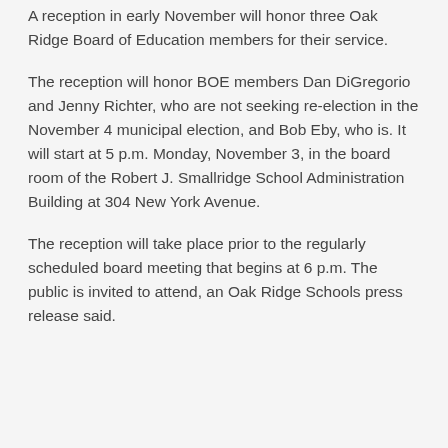A reception in early November will honor three Oak Ridge Board of Education members for their service.
The reception will honor BOE members Dan DiGregorio and Jenny Richter, who are not seeking re-election in the November 4 municipal election, and Bob Eby, who is. It will start at 5 p.m. Monday, November 3, in the board room of the Robert J. Smallridge School Administration Building at 304 New York Avenue.
The reception will take place prior to the regularly scheduled board meeting that begins at 6 p.m. The public is invited to attend, an Oak Ridge Schools press release said.